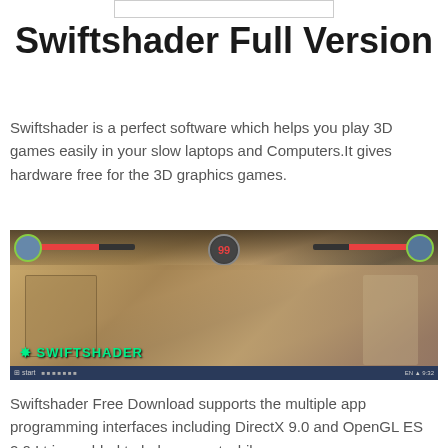Swiftshader Full Version
Swiftshader is a perfect software which helps you play 3D games easily in your slow laptops and Computers.It gives hardware free for the 3D graphics games.
[Figure (screenshot): Screenshot of a 3D fighting game running with Swiftshader, showing two anime-style characters in a detailed indoor environment. A timer showing '99' is visible at the top center. The SwiftShader logo appears at the bottom left. A Windows taskbar is visible at the bottom.]
Swiftshader Free Download supports the multiple app programming interfaces including DirectX 9.0 and OpenGL ES 2.0.I,t is enabled to help you out while